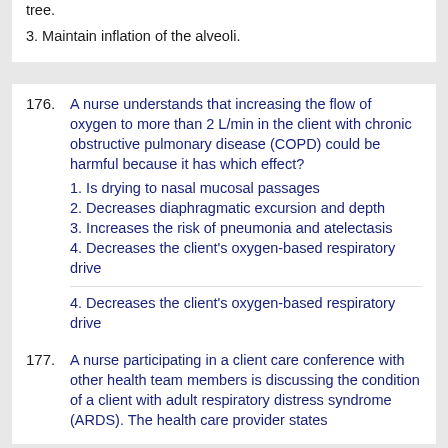tree.
3. Maintain inflation of the alveoli.
176. A nurse understands that increasing the flow of oxygen to more than 2 L/min in the client with chronic obstructive pulmonary disease (COPD) could be harmful because it has which effect?
1. Is drying to nasal mucosal passages
2. Decreases diaphragmatic excursion and depth
3. Increases the risk of pneumonia and atelectasis
4. Decreases the client's oxygen-based respiratory drive

4. Decreases the client's oxygen-based respiratory drive
177. A nurse participating in a client care conference with other health team members is discussing the condition of a client with adult respiratory distress syndrome (ARDS). The health care provider states